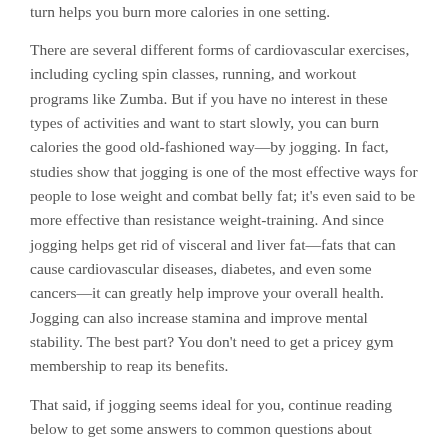turn helps you burn more calories in one setting.
There are several different forms of cardiovascular exercises, including cycling spin classes, running, and workout programs like Zumba. But if you have no interest in these types of activities and want to start slowly, you can burn calories the good old-fashioned way—by jogging. In fact, studies show that jogging is one of the most effective ways for people to lose weight and combat belly fat; it's even said to be more effective than resistance weight-training. And since jogging helps get rid of visceral and liver fat—fats that can cause cardiovascular diseases, diabetes, and even some cancers—it can greatly help improve your overall health. Jogging can also increase stamina and improve mental stability. The best part? You don't need to get a pricey gym membership to reap its benefits.
That said, if jogging seems ideal for you, continue reading below to get some answers to common questions about jogging.
SHOULD I WARM UP BEFORE JOGGING?
Traditionally it's been said that doing a variety of static